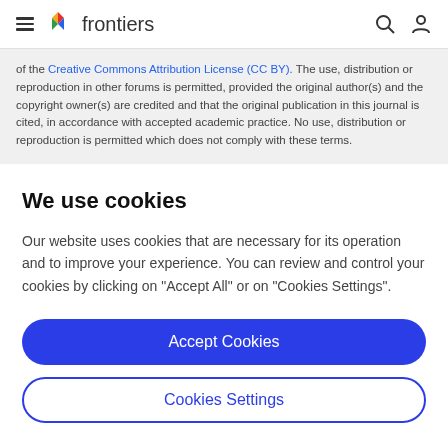frontiers
of the Creative Commons Attribution License (CC BY). The use, distribution or reproduction in other forums is permitted, provided the original author(s) and the copyright owner(s) are credited and that the original publication in this journal is cited, in accordance with accepted academic practice. No use, distribution or reproduction is permitted which does not comply with these terms.
We use cookies
Our website uses cookies that are necessary for its operation and to improve your experience. You can review and control your cookies by clicking on "Accept All" or on "Cookies Settings".
Accept Cookies
Cookies Settings